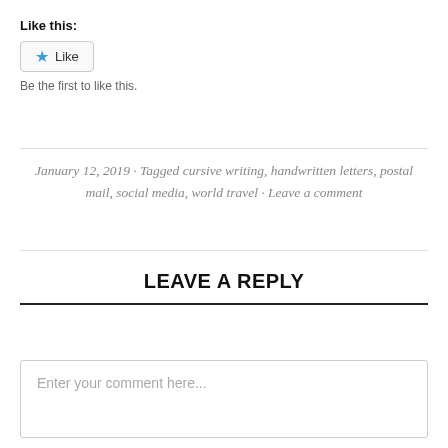Like this:
Like
Be the first to like this.
January 12, 2019 · Tagged cursive writing, handwritten letters, postal mail, social media, world travel · Leave a comment
LEAVE A REPLY
Enter your comment here...